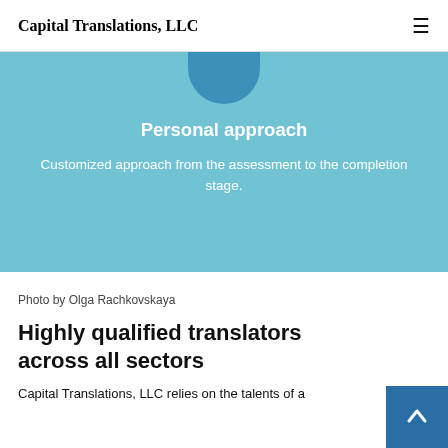Capital Translations, LLC
Personal approach
Customized approach from the assessment to the completion stage.
Photo by Olga Rachkovskaya
Highly qualified translators across all sectors
Capital Translations, LLC relies on the talents of a